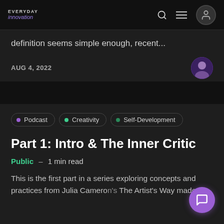EVERYDAY innovation
definition seems simple enough, recent...
AUG 4, 2022
Podcast
Creativity
Self-Development
Part 1: Intro & The Inner Critic
Public – 1 min read
This is the first part in a series exploring concepts and practices from Julia Cameron's The Artist's Way made to...